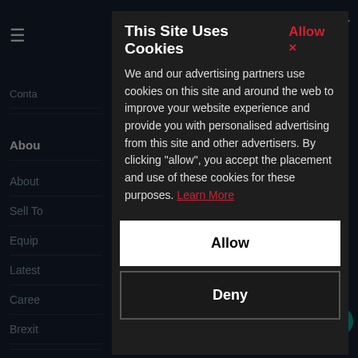[Figure (screenshot): Background website navigation with dark navy theme showing hamburger menu, Contact Us, About Us section headers, and navigation items: About Us, Sell To Us, Equipment, Latest News, Careers, Brexit Info, Quick Links, Services, Storage]
This Site Uses Cookies
We and our advertising partners use cookies on this site and around the web to improve your website experience and provide you with personalised advertising from this site and other advertisers. By clicking "allow", you accept the placement and use of these cookies for these purposes. Learn More
Allow
Deny